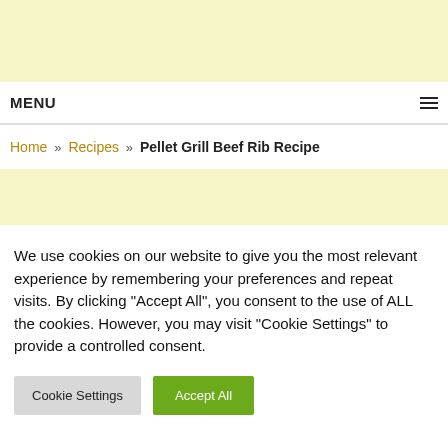[Figure (other): Yellow/cream advertisement banner at top of page]
MENU
Home » Recipes » Pellet Grill Beef Rib Recipe
[Figure (other): Yellow/cream advertisement banner below breadcrumb]
We use cookies on our website to give you the most relevant experience by remembering your preferences and repeat visits. By clicking "Accept All", you consent to the use of ALL the cookies. However, you may visit "Cookie Settings" to provide a controlled consent.
Cookie Settings  Accept All